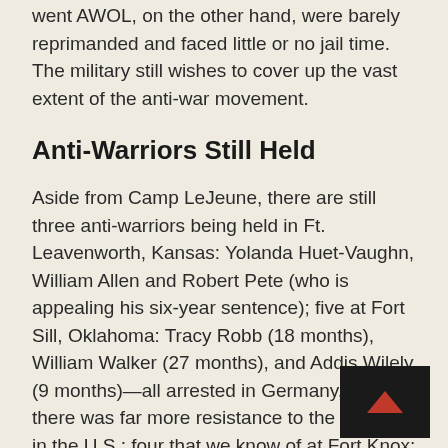went AWOL, on the other hand, were barely reprimanded and faced little or no jail time. The military still wishes to cover up the vast extent of the anti-war movement.
Anti-Warriors Still Held
Aside from Camp LeJeune, there are still three anti-warriors being held in Ft. Leavenworth, Kansas: Yolanda Huet-Vaughn, William Allen and Robert Pete (who is appealing his six-year sentence); five at Fort Sill, Oklahoma: Tracy Robb (18 months), William Walker (27 months), and Addis Wilely (9 months)—all arrested in Germany, where there was far more resistance to the war than in the U S.; four that we know of at Fort Knox: Jimmy Jones (11 months); Michael Bell, who is married to Tracy Robb at Fort Sill (18 months); Oronde Gibson (11 months); and John Pruner (4 months, and appealing); in Fort Lewis (Washington State): Tim Silvey (18 months).
Amnesty International has declared many of the